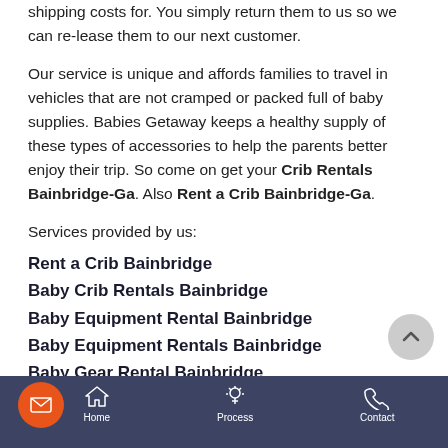shipping costs for. You simply return them to us so we can re-lease them to our next customer.
Our service is unique and affords families to travel in vehicles that are not cramped or packed full of baby supplies. Babies Getaway keeps a healthy supply of these types of accessories to help the parents better enjoy their trip. So come on get your Crib Rentals Bainbridge-Ga. Also Rent a Crib Bainbridge-Ga.
Services provided by us:
Rent a Crib Bainbridge
Baby Crib Rentals Bainbridge
Baby Equipment Rental Bainbridge
Baby Equipment Rentals Bainbridge
Baby Gear Rental Bainbridge
Home | Process | Contact